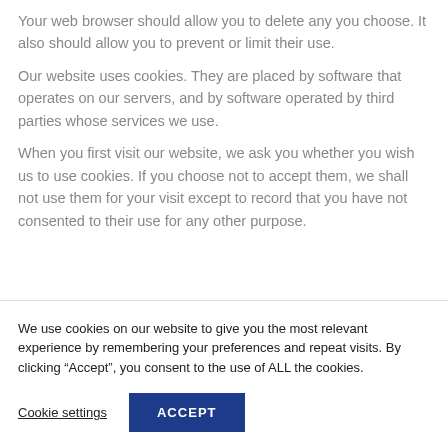Your web browser should allow you to delete any you choose. It also should allow you to prevent or limit their use.
Our website uses cookies. They are placed by software that operates on our servers, and by software operated by third parties whose services we use.
When you first visit our website, we ask you whether you wish us to use cookies. If you choose not to accept them, we shall not use them for your visit except to record that you have not consented to their use for any other purpose.
We use cookies on our website to give you the most relevant experience by remembering your preferences and repeat visits. By clicking “Accept”, you consent to the use of ALL the cookies.
Cookie settings
ACCEPT